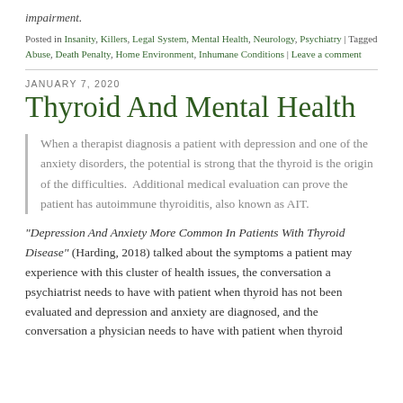impairment.
Posted in Insanity, Killers, Legal System, Mental Health, Neurology, Psychiatry | Tagged Abuse, Death Penalty, Home Environment, Inhumane Conditions | Leave a comment
JANUARY 7, 2020
Thyroid And Mental Health
When a therapist diagnosis a patient with depression and one of the anxiety disorders, the potential is strong that the thyroid is the origin of the difficulties. Additional medical evaluation can prove the patient has autoimmune thyroiditis, also known as AIT.
“Depression And Anxiety More Common In Patients With Thyroid Disease” (Harding, 2018) talked about the symptoms a patient may experience with this cluster of health issues, the conversation a psychiatrist needs to have with patient when thyroid has not been evaluated and depression and anxiety are diagnosed, and the conversation a physician needs to have with patient when thyroid